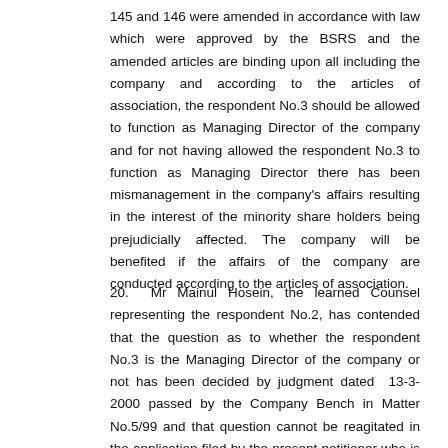145 and 146 were amended in accordance with law which were approved by the BSRS and the amended articles are binding upon all including the company and according to the articles of association, the respondent No.3 should be allowed to function as Managing Director of the company and for not having allowed the respondent No.3 to function as Managing Director there has been mismanagement in the company's affairs resulting in the interest of the minority share holders being prejudicially affected. The company will be benefited if the affairs of the company are conducted according to the articles of association.
20. Mr Mainul Hosein, the learned Counsel representing the respondent No.2, has contended that the question as to whether the respondent No.3 is the Managing Director of the company or not has been decided by judgment dated 13-3-2000 passed by the Company Bench in Matter No.5/99 and that question cannot be reagitated in the application filed by the present petitioner who is the wife of respondent No.3. He has further contended that since the issue is pending before the Appellate Division in the form of leave petition the same cannot be